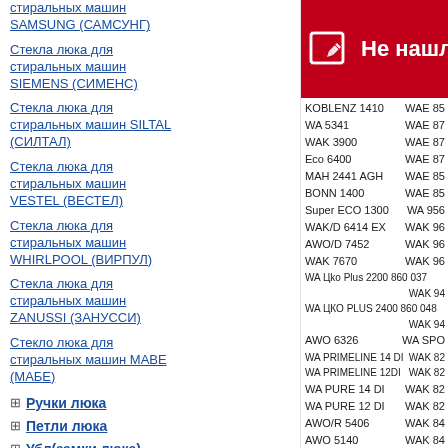Стекла люка для стиральных машин SAMSUNG (САМСУНГ)
Стекла люка для стиральных машин SIEMENS (СИМЕНС)
Стекла люка для стиральных машин SILTAL (СИЛТАЛ)
Стекла люка для стиральных машин VESTEL (ВЕСТЕЛ)
Стекла люка для стиральных машин WHIRLPOOL (ВИРПУЛ)
Стекла люка для стиральных машин ZANUSSI (ЗАНУССИ)
Стекло люка для стиральных машин MABE (МАБЕ)
⊞ Ручки люка
⊞ Петли люка
⊞ Убл(замки люка)
⊞ Амортизаторы
⊞ Электромагнитиые
[Figure (other): Red notification bar with edit icon and text 'Не нашл']
KOBLENZ 1410 | WAE 85...
WA 5341 | WAE 87...
WAK 3900 | WAE 87...
Eco 6400 | WAE 87...
MAH 2441 AGH | WAE 85...
BONN 1400 | WAE 85...
Super ECO 1300 | WA 9560...
WAK/D 6414 EX | WAK 96...
AWO/D 7452 | WAK 96...
WAK 7670 | WAK 96...
WA Цko Plus 2200 860 037 | WAK 94...
WA ЦКО PLUS 2400 860 048 | WAK 94...
AWO 6326 | WA SPO...
WA PRIMELINE 14 DI | WAK 82...
WA PRIMELINE 12DI | WAK 82...
WA PURE 14 DI | WAK 82...
WA PURE 12 DI | WAK 82...
AWO/R 5406 | WAK 84...
AWO 5140 | WAK 84...
WTA 1400 NL | WAK 86...
AWM 5614 | WAK 86...
AWM 5612 | WAK 84...
AWO/D 10761 | EXCELL...
AWO/D 10961 | EXCELL...
AWO/D 6507/S | EXCELL...
AWO/D 8500 | EXCELL...
AWO/D 1200 EX | EXCELL...
AWO/D 9561 | EXCELL...
AWO/D 6100 D | EXCELL...
AWO/D 6200 D | EXCELL...
AWO/D 6210 | WA 995...
WTA 1400 | WA 995...
AWO/D 8200 | WA 975...